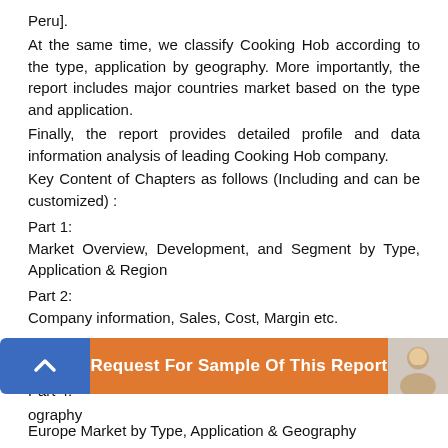Peru].
At the same time, we classify Cooking Hob according to the type, application by geography. More importantly, the report includes major countries market based on the type and application.
Finally, the report provides detailed profile and data information analysis of leading Cooking Hob company.
Key Content of Chapters as follows (Including and can be customized) :
Part 1:
Market Overview, Development, and Segment by Type, Application & Region
Part 2:
Company information, Sales, Cost, Margin etc.
Part 3:
Global Market by company, Type, Application & Geography
Part 4:
ography
[Figure (other): Request For Sample Of This Report banner with blue arrow button and orange background, with avatar on right]
Europe Market by Type, Application & Geography